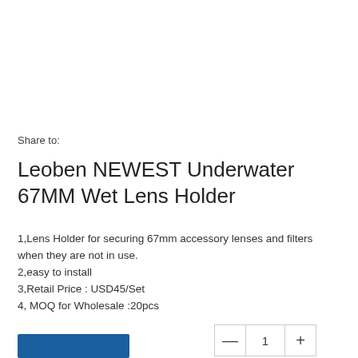Share to:
Leoben NEWEST Underwater 67MM Wet Lens Holder
1,Lens Holder for securing 67mm accessory lenses and filters when they are not in use.
2,easy to install
3,Retail Price : USD45/Set
4, MOQ for Wholesale :20pcs
Quantity: